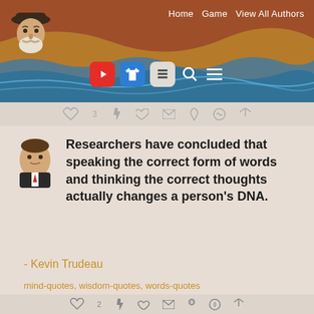Home  Game  View All Authors
[Figure (screenshot): Website header with brown background, decorative wave pattern, social media icon buttons (YouTube, shirt, stack, search, menu), and an illustrated portrait avatar in top-left corner.]
Researchers have concluded that speaking the correct form of words and thinking the correct thoughts actually changes a person's DNA.
- Kevin Trudeau
mind-quotes, wisdom-quotes, words-quotes